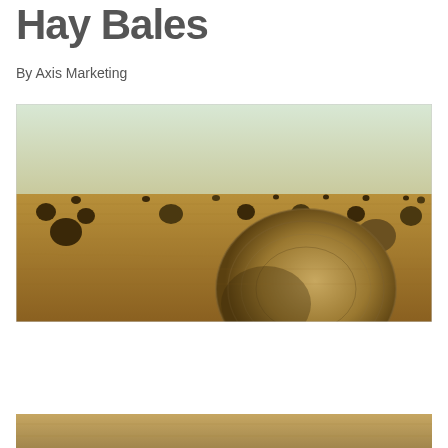Hay Bales
By Axis Marketing
[Figure (photo): Wide agricultural field with numerous round hay bales scattered across a golden harvested field under a pale sky. A large hay bale is prominent in the foreground right.]
[Figure (photo): Partial bottom strip of another image, appears to be the same hay field scene.]